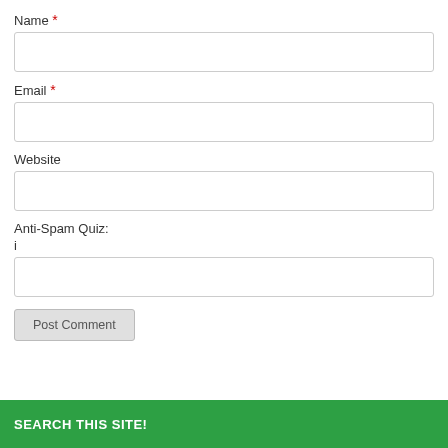Name *
Email *
Website
Anti-Spam Quiz:
i
Post Comment
SEARCH THIS SITE!